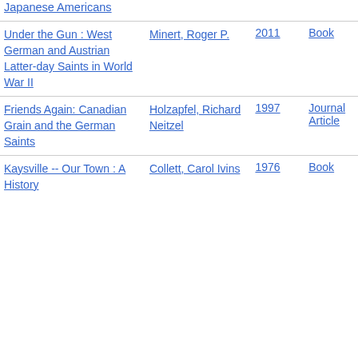Japanese Americans
| Title | Author | Year | Type |
| --- | --- | --- | --- |
| Under the Gun : West German and Austrian Latter-day Saints in World War II | Minert, Roger P. | 2011 | Book |
| Friends Again: Canadian Grain and the German Saints | Holzapfel, Richard Neitzel | 1997 | Journal Article |
| Kaysville -- Our Town : A History | Collett, Carol Ivins | 1976 | Book |